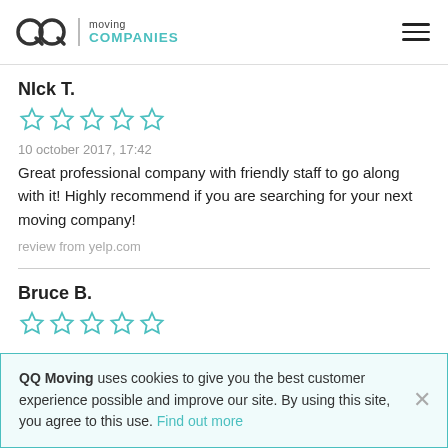QQ moving COMPANIES
NIck T.
[Figure (other): 5 empty star rating icons in teal/cyan outline]
10 october 2017, 17:42
Great professional company with friendly staff to go along with it! Highly recommend if you are searching for your next moving company!
review from yelp.com
Bruce B.
[Figure (other): 5 empty star rating icons in teal/cyan outline]
QQ Moving uses cookies to give you the best customer experience possible and improve our site. By using this site, you agree to this use. Find out more